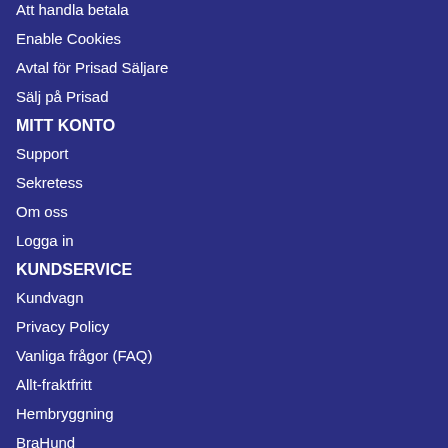Att handla betala
Enable Cookies
Avtal för Prisad Säljare
Sälj på Prisad
MITT KONTO
Support
Sekretess
Om oss
Logga in
KUNDSERVICE
Kundvagn
Privacy Policy
Vanliga frågor (FAQ)
Allt-fraktfritt
Hembryggning
BraHund
Följ oss på Facebook